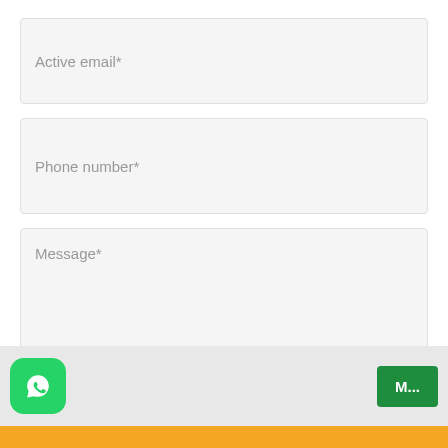Active email*
Phone number*
Message*
Send Request
* Required Fields
[Figure (logo): WhatsApp green icon with white phone logo]
M...